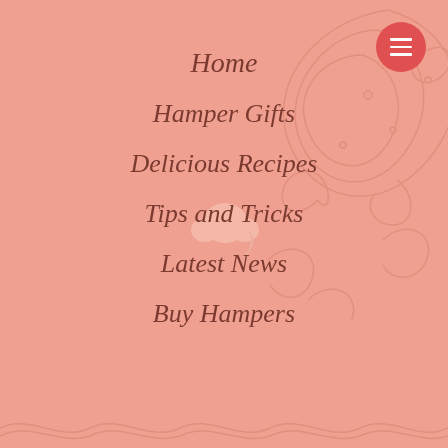[Figure (screenshot): Pink salmon-colored navigation menu page with paisley decorative pattern top-right, hamburger menu button top-right in red circle, chef hat icon in center, and navigation links in cursive italic script.]
Home
Hamper Gifts
Delicious Recipes
Tips and Tricks
Latest News
Buy Hampers